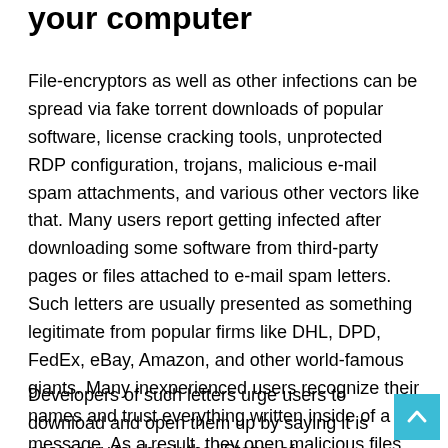your computer
File-encryptors as well as other infections can be spread via fake torrent downloads of popular software, license cracking tools, unprotected RDP configuration, trojans, malicious e-mail spam attachments, and various other vectors like that. Many users report getting infected after downloading some software from third-party pages or files attached to e-mail spam letters. Such letters are usually presented as something legitimate from popular firms like DHL, DPD, FedEx, eBay, Amazon, and other world-famous giants. Many inexperienced users recognize their names and trust everything written inside of a message. As a result, they open malicious files disguised as Word, Excel, PDF, Executable, or JavaScript formats that store direct infection or trojan which will install it.
Developers of such letters urge users to download and open them up by saying it is necessary to check the "Status of